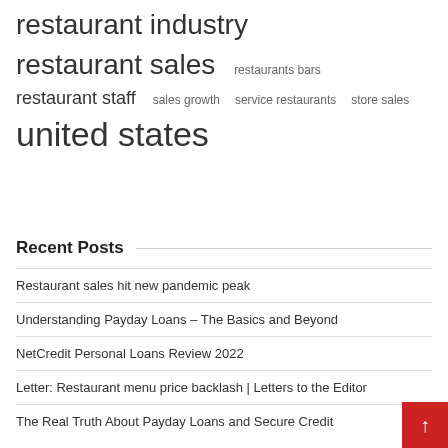restaurant industry
restaurant sales   restaurants bars
restaurant staff   sales growth   service restaurants   store sales
united states
Recent Posts
Restaurant sales hit new pandemic peak
Understanding Payday Loans – The Basics and Beyond
NetCredit Personal Loans Review 2022
Letter: Restaurant menu price backlash | Letters to the Editor
The Real Truth About Payday Loans and Secure Credit